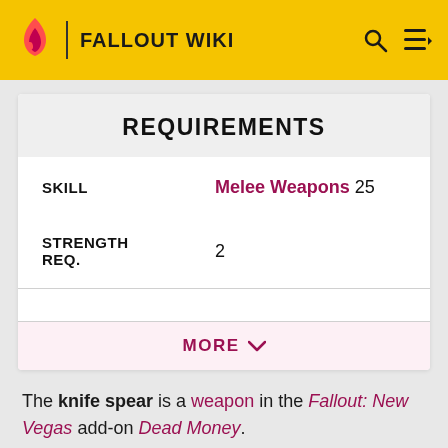FALLOUT WIKI
REQUIREMENTS
|  |  |
| --- | --- |
| SKILL | Melee Weapons 25 |
| STRENGTH REQ. | 2 |
MORE
The knife spear is a weapon in the Fallout: New Vegas add-on Dead Money.